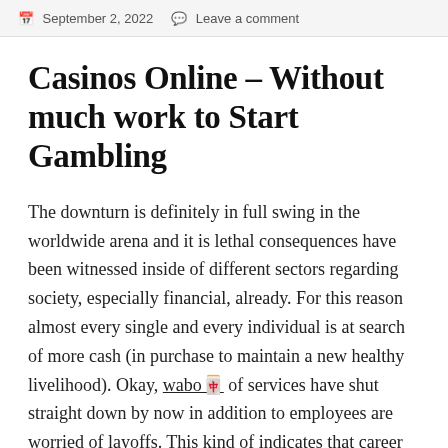September 2, 2022   Leave a comment
Casinos Online – Without much work to Start Gambling
The downturn is definitely in full swing in the worldwide arena and it is lethal consequences have been witnessed inside of different sectors regarding society, especially financial, already. For this reason almost every single and every individual is at search of more cash (in purchase to maintain a new healthy livelihood). Okay, wabo🀄 of services have shut straight down by now in addition to employees are worried of layoffs. This kind of indicates that career industry is likewise staggering on account of the brunt of recession. What else could you do in this